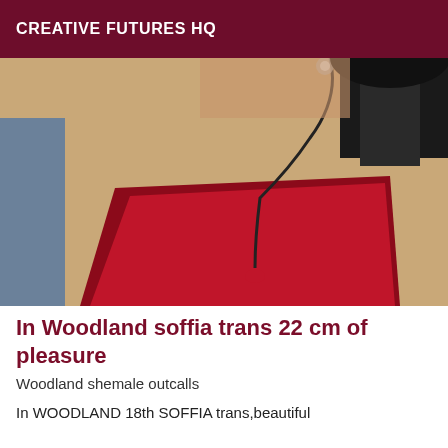CREATIVE FUTURES HQ
[Figure (photo): A person in high heels and a red garment/cloth on a wooden floor, with a black cord/whip hanging down.]
In Woodland soffia trans 22 cm of pleasure
Woodland shemale outcalls
In WOODLAND 18th SOFFIA trans,beautiful